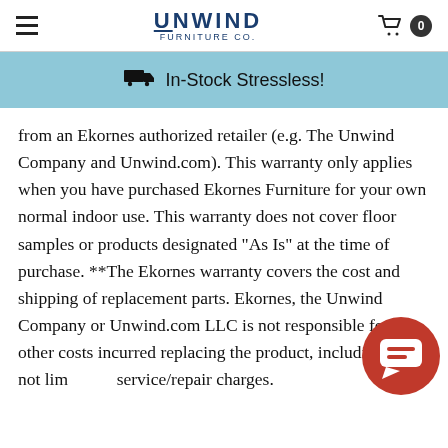Unwind Furniture Co. — Navigation header with hamburger menu, logo, and cart icon showing 0 items
In-Stock Stressless!
from an Ekornes authorized retailer (e.g. The Unwind Company and Unwind.com). This warranty only applies when you have purchased Ekornes Furniture for your own normal indoor use. This warranty does not cover floor samples or products designated "As Is" at the time of purchase. **The Ekornes warranty covers the cost and shipping of replacement parts. Ekornes, the Unwind Company or Unwind.com LLC is not responsible for any other costs incurred replacing the product, including but not limited to service/repair charges.